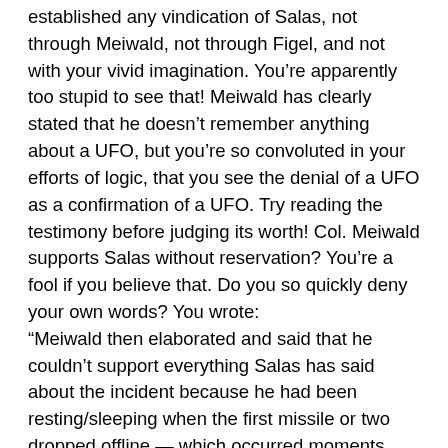established any vindication of Salas, not through Meiwald, not through Figel, and not with your vivid imagination. You're apparently too stupid to see that! Meiwald has clearly stated that he doesn't remember anything about a UFO, but you're so convoluted in your efforts of logic, that you see the denial of a UFO as a confirmation of a UFO. Try reading the testimony before judging its worth! Col. Meiwald supports Salas without reservation? You're a fool if you believe that. Do you so quickly deny your own words? You wrote: “Meiwald then elaborated and said that he couldn’t support everything Salas has said about the incident because he had been resting/sleeping when the first missile or two dropped offline — which occurred moments after Salas received a report from the Oscar Flight Security Controller about a UFO